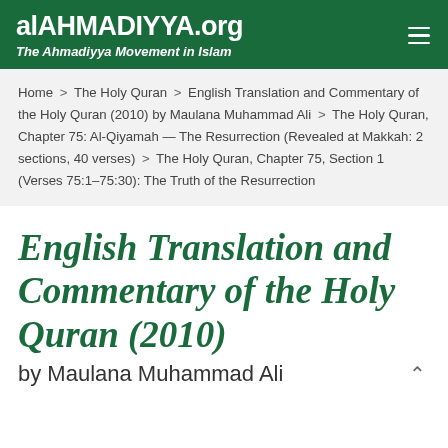alAHMADIYYA.org — The Ahmadiyya Movement in Islam
Home > The Holy Quran > English Translation and Commentary of the Holy Quran (2010) by Maulana Muhammad Ali > The Holy Quran, Chapter 75: Al-Qiyamah — The Resurrection (Revealed at Makkah: 2 sections, 40 verses) > The Holy Quran, Chapter 75, Section 1 (Verses 75:1–75:30): The Truth of the Resurrection
English Translation and Commentary of the Holy Quran (2010)
by Maulana Muhammad Ali